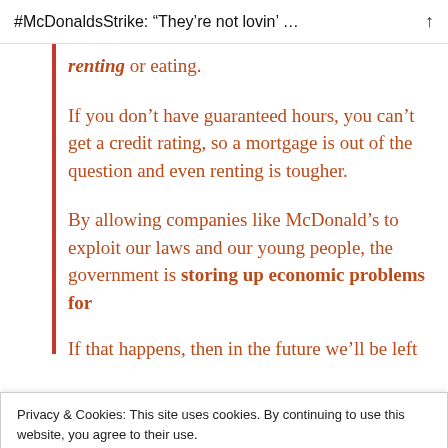#McDonaldsStrike: “They’re not lovin’ …
renting or eating.
If you don’t have guaranteed hours, you can’t get a credit rating, so a mortgage is out of the question and even renting is tougher.
By allowing companies like McDonald’s to exploit our laws and our young people, the government is storing up economic problems for
Privacy & Cookies: This site uses cookies. By continuing to use this website, you agree to their use.
To find out more, including how to control cookies, see here: Cookie Policy
If that happens, then in the future we’ll be left